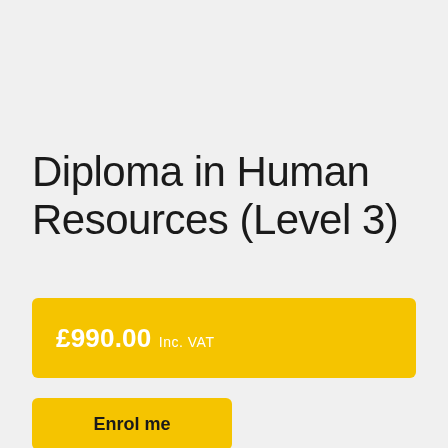Diploma in Human Resources (Level 3)
£990.00 Inc. VAT
Enrol me